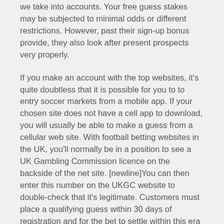we take into accounts. Your free guess stakes may be subjected to minimal odds or different restrictions. However, past their sign-up bonus provide, they also look after present prospects very properly.
If you make an account with the top websites, it's quite doubtless that it is possible for you to to entry soccer markets from a mobile app. If your chosen site does not have a cell app to download, you will usually be able to make a guess from a cellular web site. With football betting websites in the UK, you'll normally be in a position to see a UK Gambling Commission licence on the backside of the net site. [newline]You can then enter this number on the UKGC website to double-check that it's legitimate. Customers must place a qualifying guess within 30 days of registration and for the bet to settle within this era to obtain the Free Bet/Free Spins routinely. Free Bet shall be credited to the account inside 24 hours of the qualifying bet settling. Register using the promo code, deposit and place first guess of £10+ on Sports (cumulative Evens+) inside 7 days of